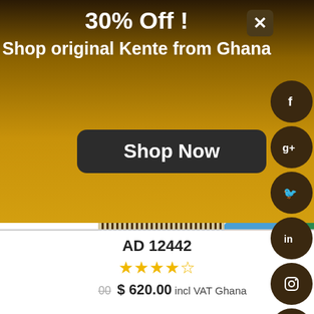30% Off !
Shop original Kente from Ghana
Shop Now
[Figure (photo): Colorful Kente cloth from Ghana with geometric patterns in orange, black, white, blue, and green]
AD 12442
★★★★½
$ 850.00  $ 620.00 incl VAT Ghana